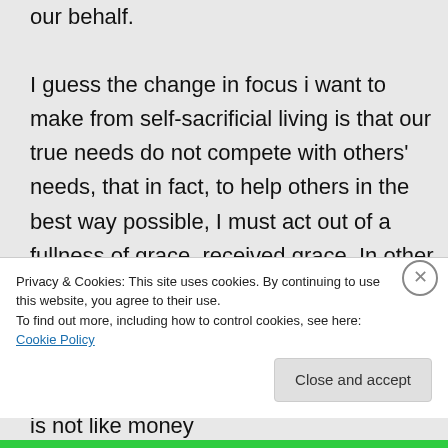our behalf. I guess the change in focus i want to make from self-sacrificial living is that our true needs do not compete with others' needs, that in fact, to help others in the best way possible, I must act out of a fullness of grace, received grace. In other words, grace is not a limited commodity that must either come to me or to another person, but it comes *through* me to another person–it restores my life first. It is not like money
Privacy & Cookies: This site uses cookies. By continuing to use this website, you agree to their use. To find out more, including how to control cookies, see here: Cookie Policy
Close and accept